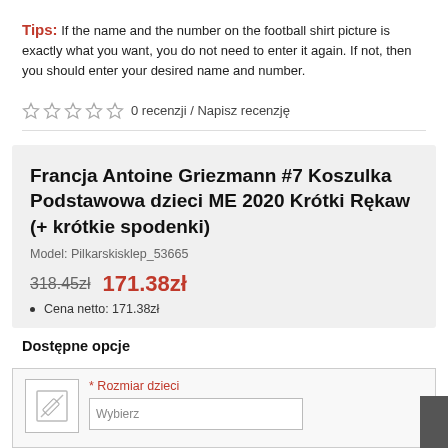Tips: If the name and the number on the football shirt picture is exactly what you want, you do not need to enter it again. If not, then you should enter your desired name and number.
☆ ☆ ☆ ☆ ☆ 0 recenzji / Napisz recenzję
Francja Antoine Griezmann #7 Koszulka Podstawowa dzieci ME 2020 Krótki Rękaw (+ krótkie spodenki)
Model: Pilkarskisklep_53665
318.45zł  171.38zł
Cena netto: 171.38zł
Dostępne opcje
* Rozmiar dzieci
Wybierz